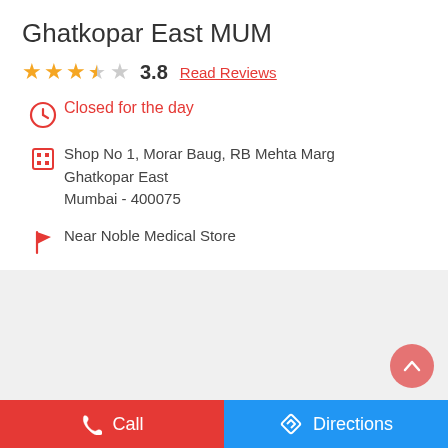Ghatkopar East MUM
★ ★ ★ ★½ ☆ 3.8  Read Reviews
Closed for the day
Shop No 1, Morar Baug, RB Mehta Marg
Ghatkopar East
Mumbai - 400075
Near Noble Medical Store
[Figure (screenshot): Map placeholder section with light grey background and a pink scroll-to-top button]
Call  |  Directions